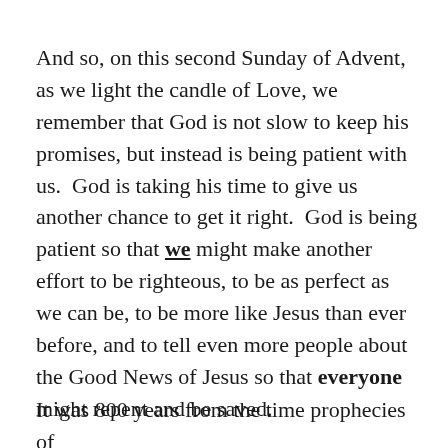And so, on this second Sunday of Advent, as we light the candle of Love, we remember that God is not slow to keep his promises, but instead is being patient with us.  God is taking his time to give us another chance to get it right.  God is being patient so that we might make another effort to be righteous, to be as perfect as we can be, to be more like Jesus than ever before, and to tell even more people about the Good News of Jesus so that everyone might repent and be saved.
It was 800 years from the time prophecies of